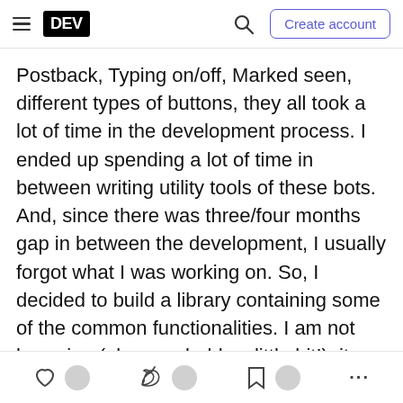DEV — Create account (navigation bar with hamburger menu, search icon, and Create account button)
Postback, Typing on/off, Marked seen, different types of buttons, they all took a lot of time in the development process. I ended up spending a lot of time in between writing utility tools of these bots. And, since there was three/four months gap in between the development, I usually forgot what I was working on. So, I decided to build a library containing some of the common functionalities. I am not bragging (okay, probably a little bit!), it really made my life easier. I have developed and published it in PyPI a long time ago (six months I think, since the last major update). I was (still am) too scared to write anything about it. However, since the bot did not
Action bar with heart icon, unicorn icon, bookmark icon, and more (…) options